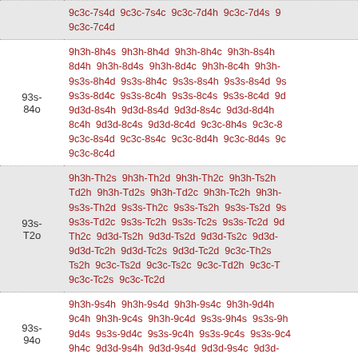| Label | Codes |
| --- | --- |
|  | 9c3c-7s4d  9c3c-7s4c  9c3c-7d4h  9c3c-7d4s  9c3c-7c4d |
| 93s-84o | 9h3h-8h4s  9h3h-8h4d  9h3h-8h4c  9h3h-8s4h  8d4h  9h3h-8d4s  9h3h-8d4c  9h3h-8c4h  9h3h-9s3s-8h4d  9s3s-8h4c  9s3s-8s4h  9s3s-8s4d  9s3s-8d4c  9s3s-8c4h  9s3s-8c4s  9s3s-8c4d  9d3d-8s4h  9d3d-8s4d  9d3d-8s4c  9d3d-8d4h  8c4h  9d3d-8c4s  9d3d-8c4d  9c3c-8h4s  9c3c-8s4d  9c3c-8s4c  9c3c-8d4h  9c3c-8d4s  9c3c-8c4d |
| 93s-T2o | 9h3h-Th2s  9h3h-Th2d  9h3h-Th2c  9h3h-Ts2h  Td2h  9h3h-Td2s  9h3h-Td2c  9h3h-Tc2h  9h3h-9s3s-Th2d  9s3s-Th2c  9s3s-Ts2h  9s3s-Ts2d  9s3s-Td2c  9s3s-Tc2h  9s3s-Tc2s  9s3s-Tc2d  9d3d-Th2c  9d3d-Ts2h  9d3d-Ts2d  9d3d-Ts2c  9d3d-Tc2h  9d3d-Tc2s  9d3d-Tc2d  9c3c-Th2s  9c3c-Ts2h  9c3c-Ts2d  9c3c-Ts2c  9c3c-Td2h  9c3c-Tc2s  9c3c-Tc2d |
| 93s-94o | 9h3h-9s4h  9h3h-9s4d  9h3h-9s4c  9h3h-9d4h  9c4h  9h3h-9c4s  9h3h-9c4d  9s3s-9h4s  9s3s-9d4s  9s3s-9d4c  9s3s-9c4h  9s3s-9c4s  9s3s-9c4h4c  9d3d-9s4h  9d3d-9s4d  9d3d-9s4c  9d3d- |